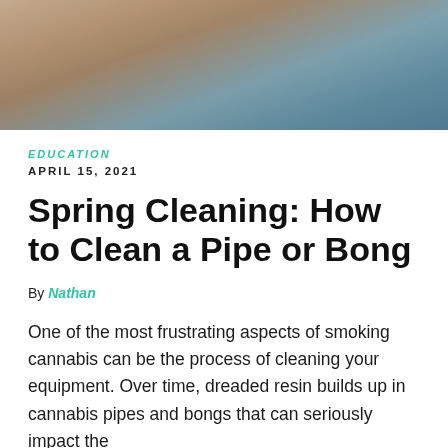[Figure (photo): Close-up photo of a person's face and shoulder, warm skin tones on left, blue fabric on right]
EDUCATION
APRIL 15, 2021
Spring Cleaning: How to Clean a Pipe or Bong
By Nathan
One of the most frustrating aspects of smoking cannabis can be the process of cleaning your equipment. Over time, dreaded resin builds up in cannabis pipes and bongs that can seriously impact the